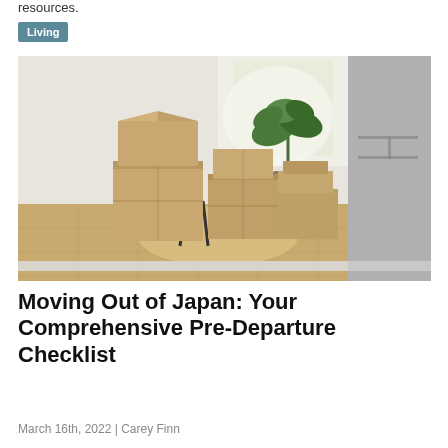resources.
Living
[Figure (photo): An empty room with cardboard moving boxes stacked on a wooden floor, a green plant in the background near a bright window, and white walls.]
Moving Out of Japan: Your Comprehensive Pre-Departure Checklist
March 16th, 2022 | Carey Finn